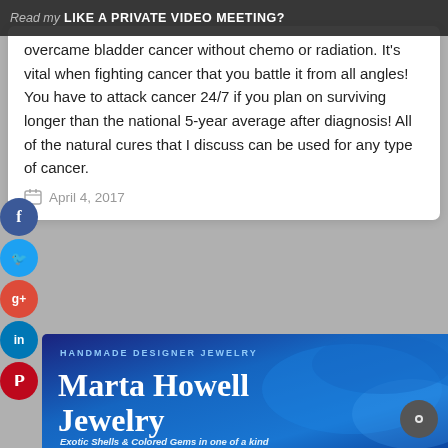LIKE A PRIVATE VIDEO MEETING?
overcame bladder cancer without chemo or radiation. It's vital when fighting cancer that you battle it from all angles! You have to attack cancer 24/7 if you plan on surviving longer than the national 5-year average after diagnosis! All of the natural cures that I discuss can be used for any type of cancer.
April 4, 2017
[Figure (illustration): Blue banner advertisement for Marta Howell Jewelry - Handmade Designer Jewelry with text 'Exotic Shells & Colored Gems in one of a kind']